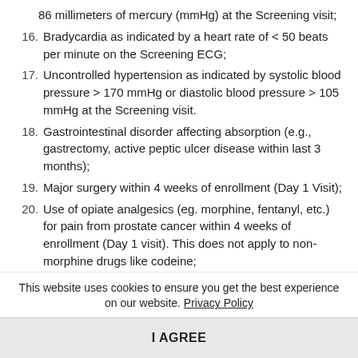86 millimeters of mercury (mmHg) at the Screening visit;
16. Bradycardia as indicated by a heart rate of < 50 beats per minute on the Screening ECG;
17. Uncontrolled hypertension as indicated by systolic blood pressure > 170 mmHg or diastolic blood pressure > 105 mmHg at the Screening visit.
18. Gastrointestinal disorder affecting absorption (e.g., gastrectomy, active peptic ulcer disease within last 3 months);
19. Major surgery within 4 weeks of enrollment (Day 1 Visit);
20. Use of opiate analgesics (eg. morphine, fentanyl, etc.) for pain from prostate cancer within 4 weeks of enrollment (Day 1 visit). This does not apply to non-morphine drugs like codeine;
This website uses cookies to ensure you get the best experience on our website. Privacy Policy
I AGREE